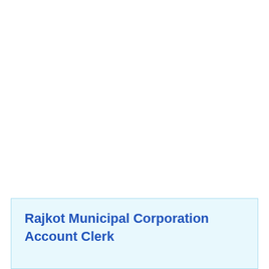Rajkot Municipal Corporation Account Clerk